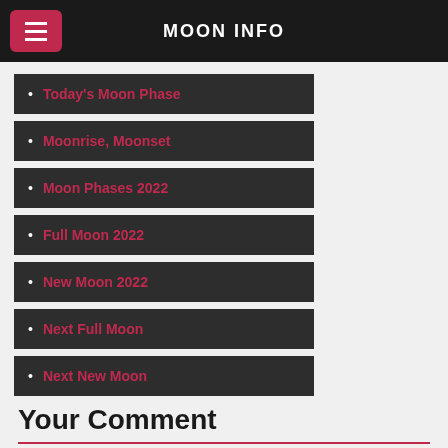MOON INFO
Today's Moon Phase
Moonrise, Moonset
Moon Phases 2022
Full Moon 2022
New Moon 2022
Next Full Moon
Next New Moon
Your Comment
Your Message *